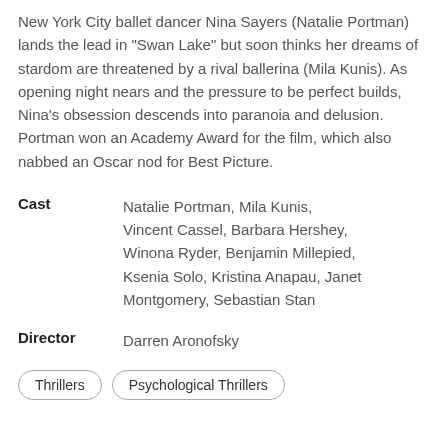New York City ballet dancer Nina Sayers (Natalie Portman) lands the lead in "Swan Lake" but soon thinks her dreams of stardom are threatened by a rival ballerina (Mila Kunis). As opening night nears and the pressure to be perfect builds, Nina's obsession descends into paranoia and delusion. Portman won an Academy Award for the film, which also nabbed an Oscar nod for Best Picture.
Cast: Natalie Portman, Mila Kunis, Vincent Cassel, Barbara Hershey, Winona Ryder, Benjamin Millepied, Ksenia Solo, Kristina Anapau, Janet Montgomery, Sebastian Stan
Director: Darren Aronofsky
Thrillers
Psychological Thrillers